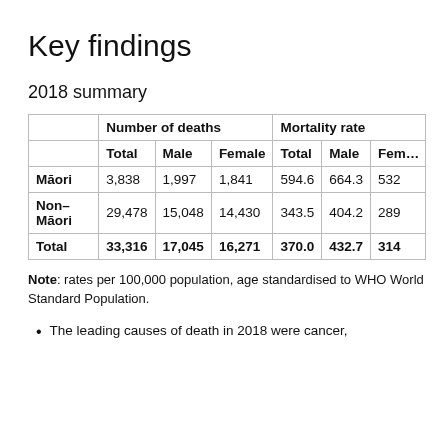Key findings
2018 summary
|  | Number of deaths |  |  | Mortality rate |  |  |
| --- | --- | --- | --- | --- | --- | --- |
| Māori | 3,838 | 1,997 | 1,841 | 594.6 | 664.3 | 532 |
| Non-Māori | 29,478 | 15,048 | 14,430 | 343.5 | 404.2 | 289 |
| Total | 33,316 | 17,045 | 16,271 | 370.0 | 432.7 | 314 |
Note: rates per 100,000 population, age standardised to WHO World Standard Population.
The leading causes of death in 2018 were cancer,